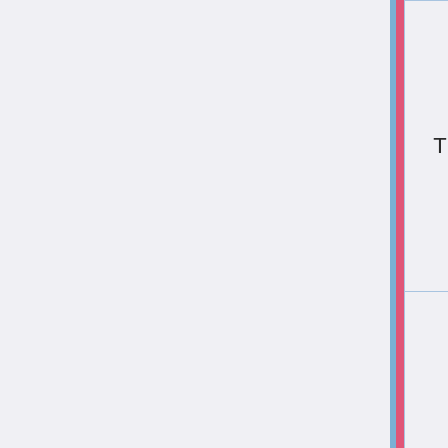| TM | Move | Type | Category |
| --- | --- | --- | --- |
| TM 15 | Hyper Beam | Normal | Spec |
| TM 16 | Icy Wind | Ice | Spec |
| TM 17 | Protect | Normal | Stat |